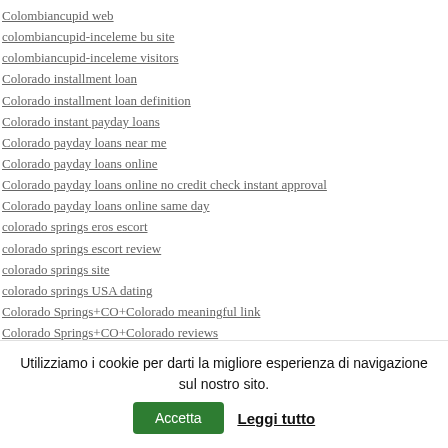Colombiancupid web
colombiancupid-inceleme bu site
colombiancupid-inceleme visitors
Colorado installment loan
Colorado installment loan definition
Colorado instant payday loans
Colorado payday loans near me
Colorado payday loans online
Colorado payday loans online no credit check instant approval
Colorado payday loans online same day
colorado springs eros escort
colorado springs escort review
colorado springs site
colorado springs USA dating
Colorado Springs+CO+Colorado meaningful link
Colorado Springs+CO+Colorado reviews
Utilizziamo i cookie per darti la migliore esperienza di navigazione sul nostro sito. Accetta Leggi tutto